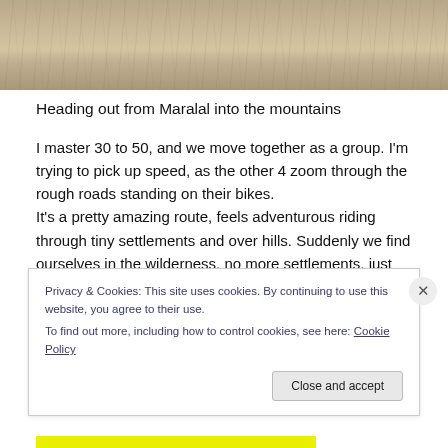[Figure (photo): Top portion of a sandy/dusty road or terrain photo, cropped near the top of the page]
Heading out from Maralal into the mountains
I master 30 to 50, and we move together as a group. I'm trying to pick up speed, as the other 4 zoom through the rough roads standing on their bikes.
It's a pretty amazing route, feels adventurous riding through tiny settlements and over hills. Suddenly we find ourselves in the wilderness, no more settlements, just nature.
Privacy & Cookies: This site uses cookies. By continuing to use this website, you agree to their use.
To find out more, including how to control cookies, see here: Cookie Policy